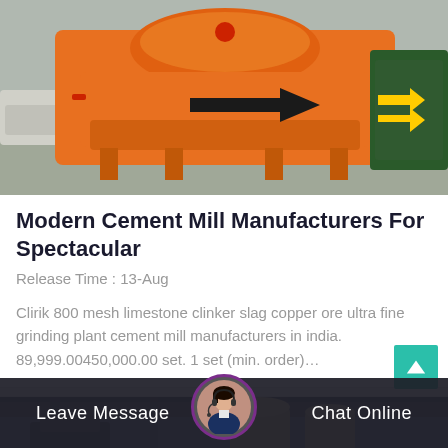[Figure (photo): Orange cement mill / industrial crusher machine on a factory floor, painted bright orange with a black arrow]
Modern Cement Mill Manufacturers For Spectacular
Release Time : 13-Aug
Clirik 800 mesh limestone clinker slag copper ore ultra fine grinding plant cement mill manufacturers in india. 89,999.00450,000.00 set. 1 set (min. order)…
[Figure (photo): Factory interior with industrial equipment and silos, partially visible]
Leave Message
Chat Online